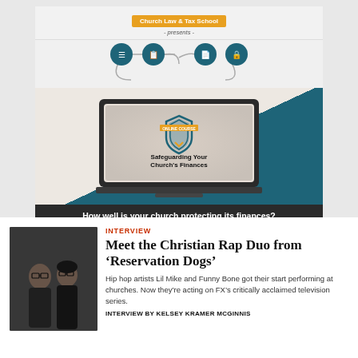[Figure (infographic): Church Law & Tax School advertisement banner for 'Safeguarding Your Church's Finances' online course. Shows a laptop with a shield icon, surrounding icons connected by lines at top, dark teal and light background, orange button 'EXPLORE NEW COURSE', and text 'How well is your church protecting its finances?']
[Figure (photo): Two people (a man and woman) wearing glasses, seated, looking upward or to the side. Black and white or dark toned photo.]
INTERVIEW
Meet the Christian Rap Duo from 'Reservation Dogs'
Hip hop artists Lil Mike and Funny Bone got their start performing at churches. Now they're acting on FX's critically acclaimed television series.
INTERVIEW BY KELSEY KRAMER MCGINNIS